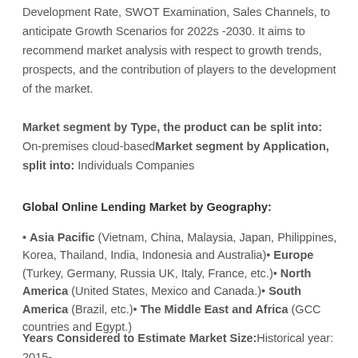Development Rate, SWOT Examination, Sales Channels, to anticipate Growth Scenarios for 2022s -2030. It aims to recommend market analysis with respect to growth trends, prospects, and the contribution of players to the development of the market.
Market segment by Type, the product can be split into: On-premises cloud-based Market segment by Application, split into: Individuals Companies
Global Online Lending Market by Geography:
• Asia Pacific (Vietnam, China, Malaysia, Japan, Philippines, Korea, Thailand, India, Indonesia and Australia)• Europe (Turkey, Germany, Russia UK, Italy, France, etc.)• North America (United States, Mexico and Canada.)• South America (Brazil, etc.)• The Middle East and Africa (GCC countries and Egypt.)
Years Considered to Estimate Market Size: Historical year: 2015-2021; base year: 2022; Estimated year: 2022;